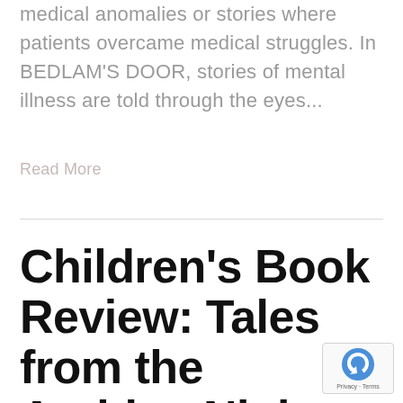medical anomalies or stories where patients overcame medical struggles. In BEDLAM'S DOOR, stories of mental illness are told through the eyes...
Read More
Children's Book Review: Tales from the Arabian Nights